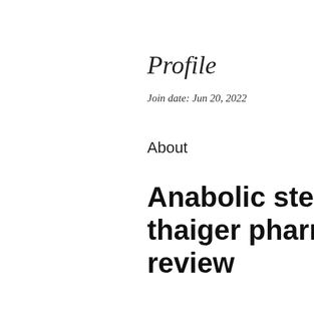Profile
Join date: Jun 20, 2022
About
Anabolic steroids only cycle, thaiger pharma whey protein review
Anabolic steroids only cycle, thaiger pharma whey protein review - Buy legal anabolic steroids
[Figure (photo): Dark blurred photo at the bottom of the page]